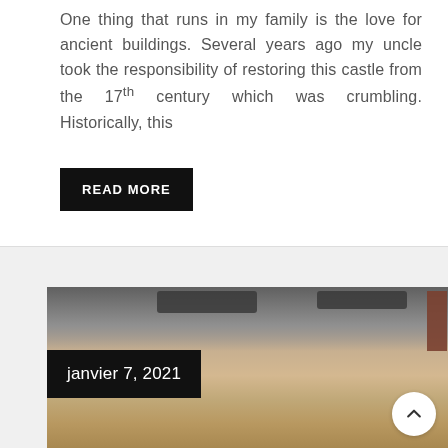One thing that runs in my family is the love for ancient buildings. Several years ago my uncle took the responsibility of restoring this castle from the 17th century which was crumbling. Historically, this
READ MORE
[Figure (photo): Blurred photo showing what appears to be a wooden surface or floor, with dark objects at the top (likely shoes or furniture legs), and a brown/reddish object at the upper right. A date label 'janvier 7, 2021' overlays the lower left of the image, and a back-to-top arrow button appears at the lower right.]
janvier 7, 2021